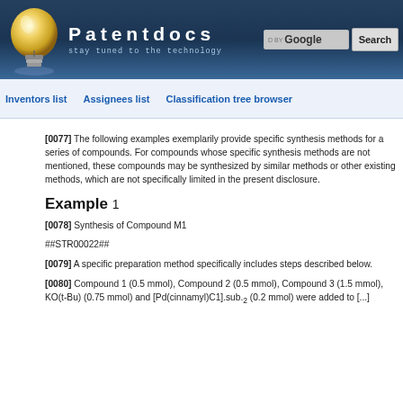Patentdocs — stay tuned to the technology
Inventors list   Assignees list   Classification tree browser
[0077] The following examples exemplarily provide specific synthesis methods for a series of compounds. For compounds whose specific synthesis methods are not mentioned, these compounds may be synthesized by similar methods or other existing methods, which are not specifically limited in the present disclosure.
Example 1
[0078] Synthesis of Compound M1
##STR00022##
[0079] A specific preparation method specifically includes steps described below.
[0080] Compound 1 (0.5 mmol), Compound 2 (0.5 mmol), Compound 3 (1.5 mmol), KO(t-Bu) (0.75 mmol) and [Pd(cinnamyl)C1].sub.2 (0.2 mmol) were added to [...]